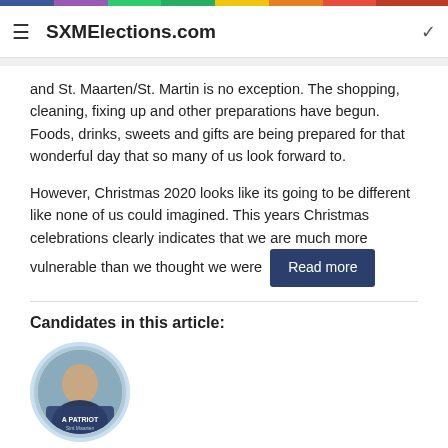SXMElections.com
and St. Maarten/St. Martin is no exception. The shopping, cleaning, fixing up and other preparations have begun. Foods, drinks, sweets and gifts are being prepared for that wonderful day that so many of us look forward to.
However, Christmas 2020 looks like its going to be different like none of us could imagined. This years Christmas celebrations clearly indicates that we are much more vulnerable than we thought we were   Read more
Candidates in this article:
[Figure (photo): Circular avatar photo of a candidate with a blue patriot badge overlay]
401 views   0 comments
Corner Stone Solutions NV   SXMElections.com